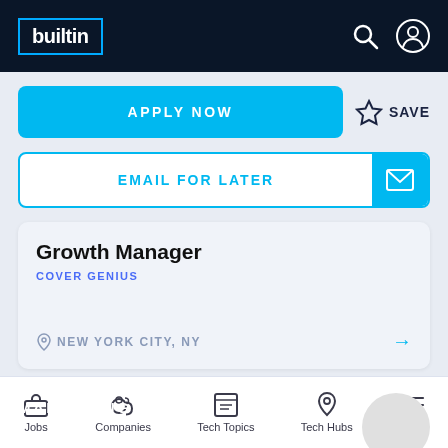builtin
APPLY NOW
SAVE
EMAIL FOR LATER
Growth Manager
COVER GENIUS
NEW YORK CITY, NY
MARKETING
Jobs | Companies | Tech Topics | Tech Hubs | More